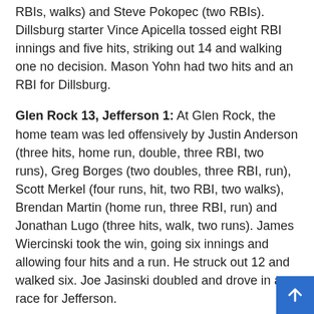RBIs, walks) and Steve Pokopec (two RBIs). Dillsburg starter Vince Apicella tossed eight RBI innings and five hits, striking out 14 and walking one no decision. Mason Yohn had two hits and an RBI for Dillsburg.
Glen Rock 13, Jefferson 1: At Glen Rock, the home team was led offensively by Justin Anderson (three hits, home run, double, three RBI, two runs), Greg Borges (two doubles, three RBI, run), Scott Merkel (four runs, hit, two RBI, two walks), Brendan Martin (home run, three RBI, run) and Jonathan Lugo (three hits, walk, two runs). James Wiercinski took the win, going six innings and allowing four hits and a run. He struck out 12 and walked six. Joe Jasinski doubled and drove in a race for Jefferson.
Funtown 4, Vikings 2: At Vikings, Treyton Smith threw six two-run innings for the win, striking out eight scoreless on walks. Nate Toomey threw a seventh shutout to get the save. Ricky Peters led Pleasureville's offense with two hits, including a double, with one RBI and one run scored. The Vikings offense